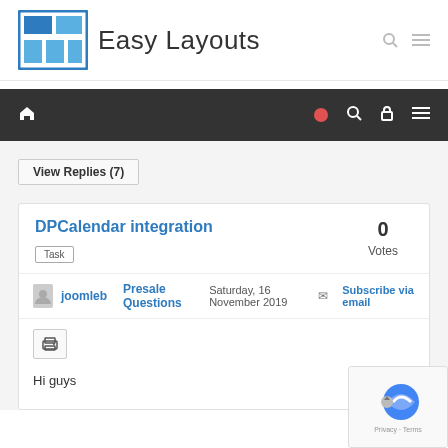[Figure (logo): Easy Layouts logo with grid icon and text]
[Figure (screenshot): Dark navigation bar with home icon, red dot, search, lock, and menu icons]
View Replies (7)
DPCalendar integration
Task
0
Votes
joomleb   Presale Questions
Saturday, 16 November 2019   Subscribe via email
Hi guys
[Figure (logo): Google reCAPTCHA badge with Privacy and Terms links]